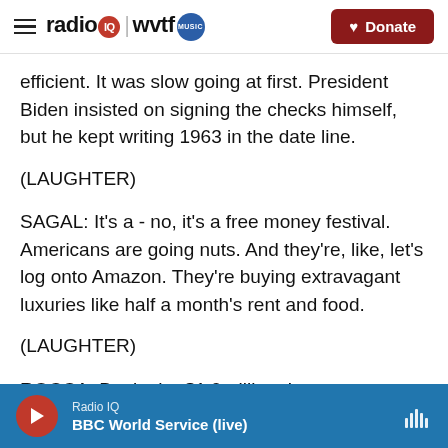radio IQ | wvtf MUSIC — Donate
efficient. It was slow going at first. President Biden insisted on signing the checks himself, but he kept writing 1963 in the date line.
(LAUGHTER)
SAGAL: It's a - no, it's a free money festival. Americans are going nuts. And they're, like, let's log onto Amazon. They're buying extravagant luxuries like half a month's rent and food.
(LAUGHTER)
ROCCA: But in the $1.9 trillion, I mean...
Radio IQ — BBC World Service (live)